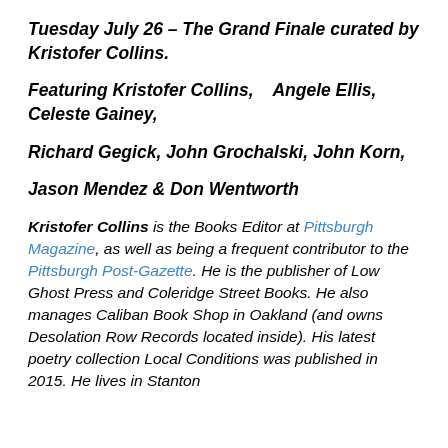Tuesday July 26 – The Grand Finale curated by Kristofer Collins.
Featuring Kristofer Collins,   Angele Ellis, Celeste Gainey,
Richard Gegick, John Grochalski, John Korn,
Jason Mendez & Don Wentworth
Kristofer Collins is the Books Editor at Pittsburgh Magazine, as well as being a frequent contributor to the Pittsburgh Post-Gazette. He is the publisher of Low Ghost Press and Coleridge Street Books. He also manages Caliban Book Shop in Oakland (and owns Desolation Row Records located inside). His latest poetry collection Local Conditions was published in 2015. He lives in Stanton